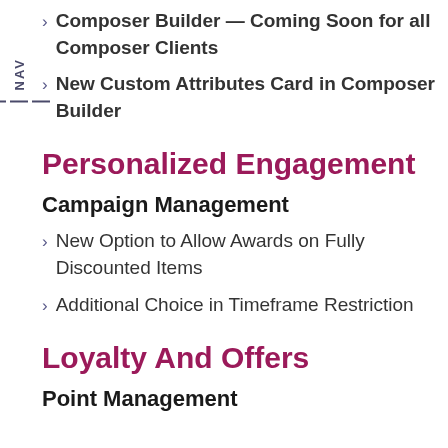Composer Builder — Coming Soon for all Composer Clients
New Custom Attributes Card in Composer Builder
Personalized Engagement
Campaign Management
New Option to Allow Awards on Fully Discounted Items
Additional Choice in Timeframe Restriction
Loyalty And Offers
Point Management